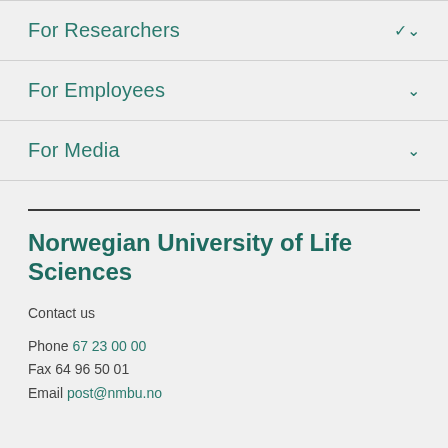For Researchers
For Employees
For Media
Norwegian University of Life Sciences
Contact us
Phone 67 23 00 00
Fax 64 96 50 01
Email post@nmbu.no